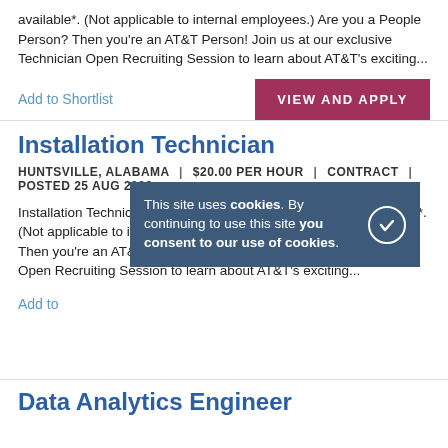available*. (Not applicable to internal employees.) Are you a People Person? Then you're an AT&T Person! Join us at our exclusive Technician Open Recruiting Session to learn about AT&T's exciting...
Add to Shortlist
VIEW AND APPLY
Installation Technician
HUNTSVILLE, ALABAMA | $20.00 PER HOUR | CONTRACT | POSTED 25 AUG 2022
Installation Technician $5,000.00 Sign on Bonus currently available*. (Not applicable to internal employees.) Are you a People Person? Then you're an AT&T Person! Join us at our exclusive Technician Open Recruiting Session to learn about AT&T's exciting...
Add to
This site uses cookies. By continuing to use this site you consent to our use of cookies.
Data Analytics Engineer